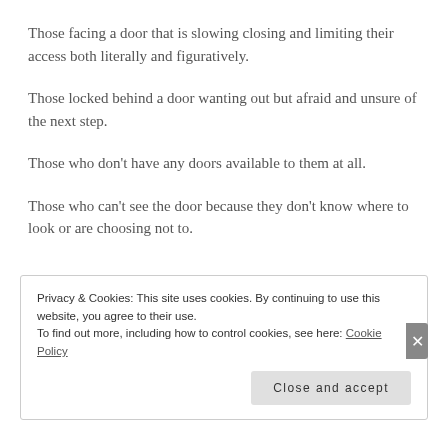Those facing a door that is slowing closing and limiting their access both literally and figuratively.
Those locked behind a door wanting out but afraid and unsure of the next step.
Those who don't have any doors available to them at all.
Those who can't see the door because they don't know where to look or are choosing not to.
Privacy & Cookies: This site uses cookies. By continuing to use this website, you agree to their use.
To find out more, including how to control cookies, see here: Cookie Policy
Close and accept